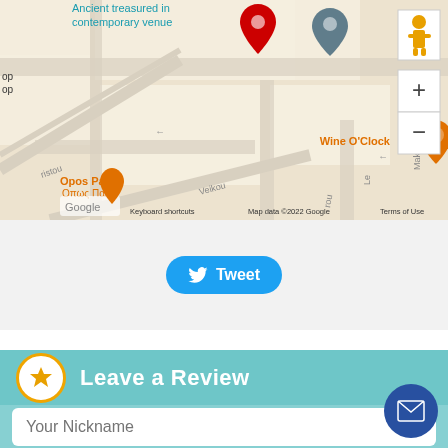[Figure (map): Google Maps screenshot showing street map with red location pin, gray location pin, orange restaurant markers for Wine O'Clock and Namaste Indian (Indian $$), Opos Palia restaurant marker, map controls (pegman, zoom in, zoom out), Google logo, and attribution text 'Keyboard shortcuts  Map data ©2022 Google  Terms of Use']
[Figure (screenshot): Tweet button (blue pill-shaped button with Twitter bird icon and 'Tweet' text) on a light gray background]
Leave a Review
Your Nickname